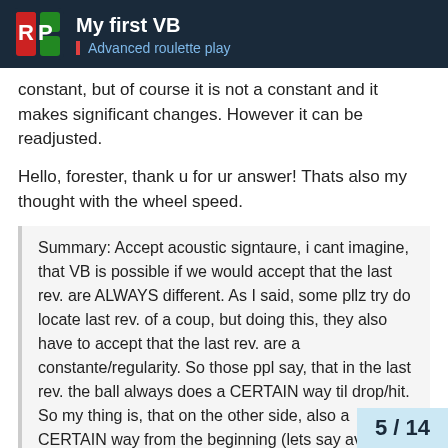My first VB | Advanced roulette play
constant, but of course it is not a constant and it makes significant changes. However it can be readjusted.
Hello, forester, thank u for ur answer! Thats also my thought with the wheel speed.
Summary: Accept acoustic signtaure, i cant imagine, that VB is possible if we would accept that the last rev. are ALWAYS different. As I said, some pllz try do locate last rev. of a coup, but doing this, they also have to accept that the last rev. are a constante/regularity. So those ppl say, that in the last rev. the ball always does a CERTAIN way til drop/hit. So my thing is, that on the other side, also a CERTAIN way from the beginning (lets say averaye rev. is 20), for example always after exact 14 rev. i "hope" to be alrdy in the last 5-6 ball rev., where i then start to take measure of ball speed related to wheel speed.
So, this is my first try to walk at VB, don
5 / 14